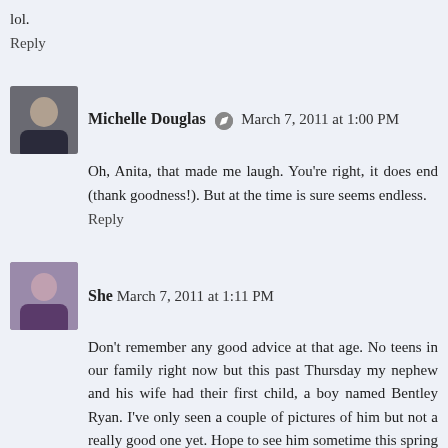lol.
Reply
Michelle Douglas  March 7, 2011 at 1:00 PM
Oh, Anita, that made me laugh. You're right, it does end (thank goodness!). But at the time is sure seems endless.
Reply
She  March 7, 2011 at 1:11 PM
Don't remember any good advice at that age. No teens in our family right now but this past Thursday my nephew and his wife had their first child, a boy named Bentley Ryan. I've only seen a couple of pictures of him but not a really good one yet. Hope to see him sometime this spring or summer.
Reply
Michelle Douglas  March 7, 2011 at 2:00 PM